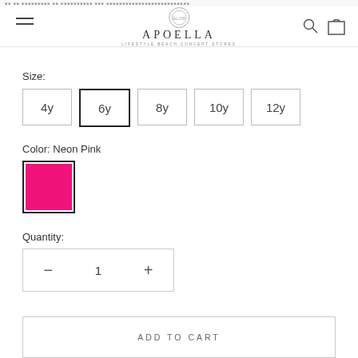APOELLA
Size:
4y  6y  8y  10y  12y
Color: Neon Pink
[Figure (other): Neon Pink color swatch square]
Quantity:
— 1 +
ADD TO CART